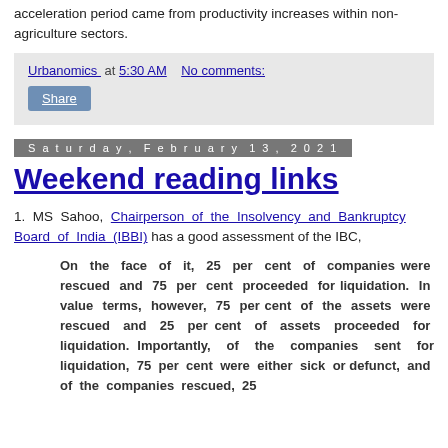acceleration period came from productivity increases within non-agriculture sectors.
Urbanomics at 5:30 AM   No comments:
Share
Saturday, February 13, 2021
Weekend reading links
1. MS Sahoo, Chairperson of the Insolvency and Bankruptcy Board of India (IBBI) has a good assessment of the IBC,
On the face of it, 25 per cent of companies were rescued and 75 per cent proceeded for liquidation. In value terms, however, 75 per cent of the assets were rescued and 25 per cent of assets proceeded for liquidation. Importantly, of the companies sent for liquidation, 75 per cent were either sick or defunct, and of the companies rescued, 25